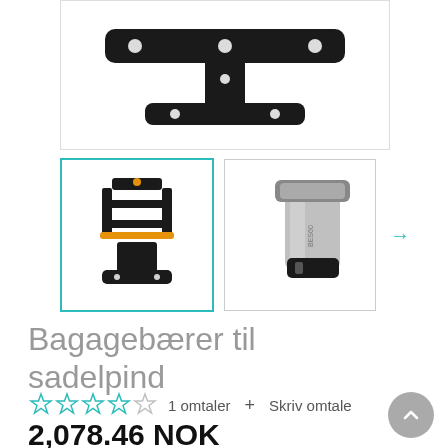[Figure (photo): Close-up product photo of a bicycle seatpost bag carrier/rack mount shown from above against white background, T-shaped black metal bracket with mounting holes]
[Figure (photo): Thumbnail of bicycle saddle bag carrier attachment, black with yellow straps, selected state with teal border]
[Figure (photo): Thumbnail of bicycle seatpost/stem clamp component, silver aluminum]
Bagagebærer til sadelpind
1 omtaler
+ Skriv omtale
2,078.46 NOK